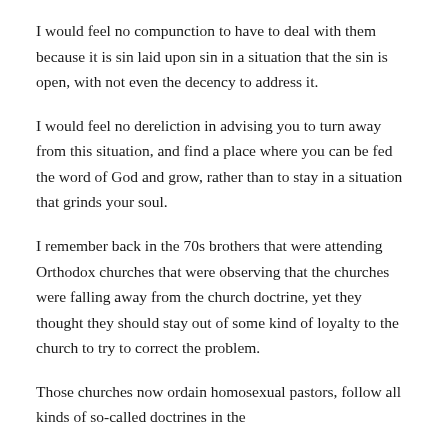I would feel no compunction to have to deal with them because it is sin laid upon sin in a situation that the sin is open, with not even the decency to address it.
I would feel no dereliction in advising you to turn away from this situation, and find a place where you can be fed the word of God and grow, rather than to stay in a situation that grinds your soul.
I remember back in the 70s brothers that were attending Orthodox churches that were observing that the churches were falling away from the church doctrine, yet they thought they should stay out of some kind of loyalty to the church to try to correct the problem.
Those churches now ordain homosexual pastors, follow all kinds of so-called doctrines in the